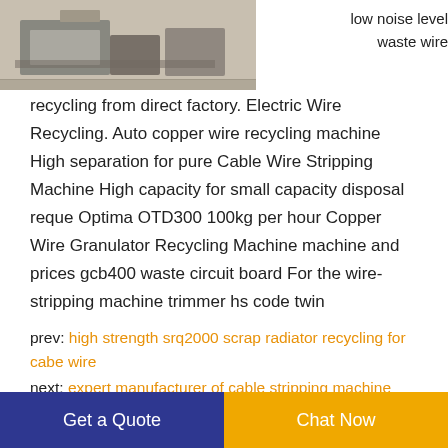[Figure (photo): Photo of a wire recycling machine in a workshop/factory setting, showing metal trays and equipment on a grey floor.]
low noise level waste wire
recycling from direct factory. Electric Wire Recycling. Auto copper wire recycling machine High separation for pure Cable Wire Stripping Machine High capacity for small capacity disposal reque Optima OTD300 100kg per hour Copper Wire Granulator Recycling Machine machine and prices gcb400 waste circuit board For the wire-stripping machine trimmer hs code twin
prev: high strength srq2000 scrap radiator recycling for cabe wire
next: expert manufacturer of cable stripping machine from
Get a Quote
Chat Now